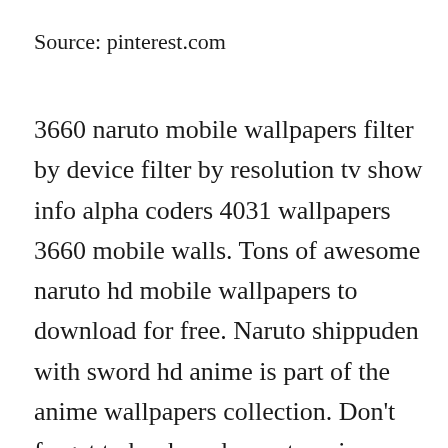Source: pinterest.com
3660 naruto mobile wallpapers filter by device filter by resolution tv show info alpha coders 4031 wallpapers 3660 mobile walls. Tons of awesome naruto hd mobile wallpapers to download for free. Naruto shippuden with sword hd anime is part of the anime wallpapers collection. Don't forget to bookmark naruto anime pictures wallpapers using ctrl + d (pc) or command + d (macos). Download this wallpaper